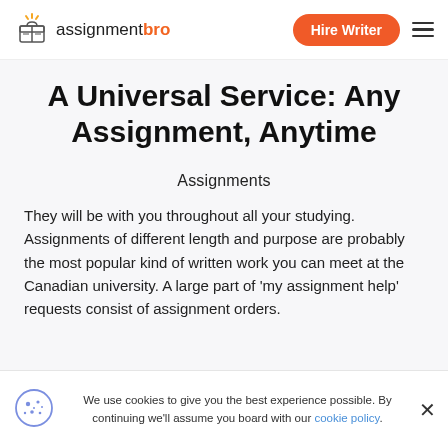assignment bro | Hire Writer
A Universal Service: Any Assignment, Anytime
Assignments
They will be with you throughout all your studying. Assignments of different length and purpose are probably the most popular kind of written work you can meet at the Canadian university. A large part of 'my assignment help' requests consist of assignment orders.
We use cookies to give you the best experience possible. By continuing we'll assume you board with our cookie policy.